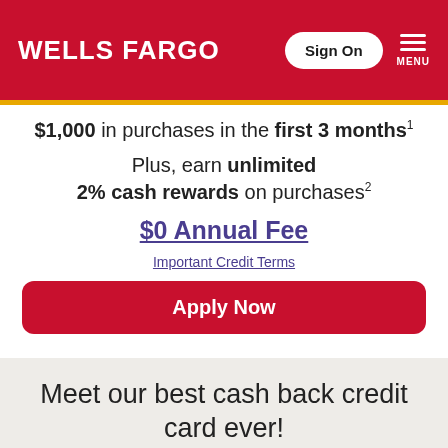WELLS FARGO
$1,000 in purchases in the first 3 months¹
Plus, earn unlimited 2% cash rewards on purchases²
$0 Annual Fee
Important Credit Terms
Apply Now
Meet our best cash back credit card ever!